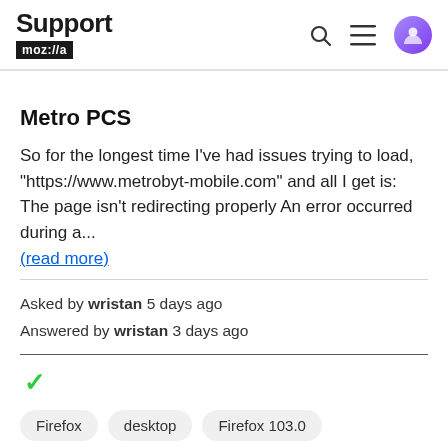Support mozilla//a
Metro PCS
So for the longest time I've had issues trying to load, "https://www.metrobyt-mobile.com" and all I get is: The page isn't redirecting properly An error occurred during a...
(read more)
Asked by wristan 5 days ago
Answered by wristan 3 days ago
✓
Firefox  desktop  Firefox 103.0  Firefox 103.0.2  fix-problems  Windows 11
3 replies  0 votes this week  4 views